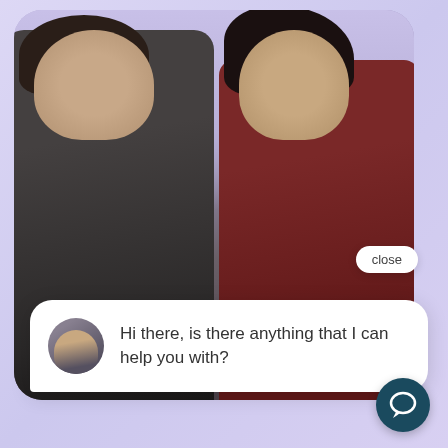[Figure (photo): Two people (a man in a dark green shirt and a woman in a dark red top with wavy black hair) looking down at something together, smiling, against a lavender/purple background. Overlaid UI elements: a 'close' button, a chat bubble with avatar saying 'Hi there, is there anything that I can help you with?', and a teal chat icon button.]
close
Hi there, is there anything that I can help you with?